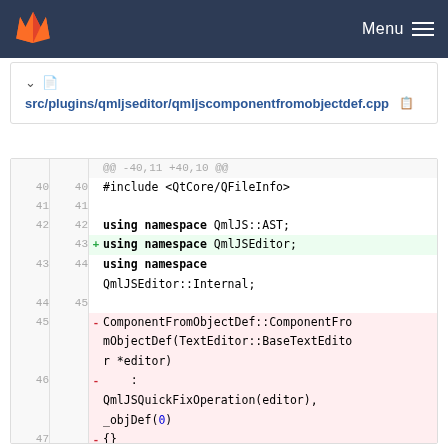GitLab — Menu
src/plugins/qmljseditor/qmljscomponentfromobjectdef.cpp
[Figure (screenshot): Git diff view showing code changes in src/plugins/qmljseditor/qmljscomponentfromobjectdef.cpp with added and removed lines highlighted]